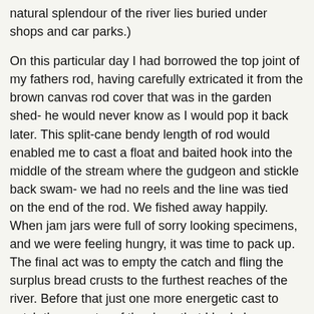natural splendour of the river lies buried under shops and car parks.)

On this particular day I had borrowed the top joint of my fathers rod, having carefully extricated it from the brown canvas rod cover that was in the garden shed- he would never know as I would pop it back later. This split-cane bendy length of rod would enabled me to cast a float and baited hook into the middle of the stream where the gudgeon and stickle back swam- we had no reels and the line was tied on the end of the rod. We fished away happily. When jam jars were full of sorry looking specimens, and we were feeling hungry, it was time to pack up. The final act was to empty the catch and fling the surplus bread crusts to the furthest reaches of the river. Before that just one more energetic cast to catch the monster of the deep that I had always dreamed about. But then disaster struck! The beautiful top joint popped out of its improvised holder and landed in the water close to the far bank! What could we do? The only possibility was to search for stones, clods of earth and sticks to throw beyond the precious cane thus creating a ripple which would drive it back towards us. Needless to say our over enthusiasm in such a dire emergency led to some poor marksmanship and the treasured top joint slid further and further away from our grasp. Just as we were about to concede defeat and succumb to disconsolate despair the